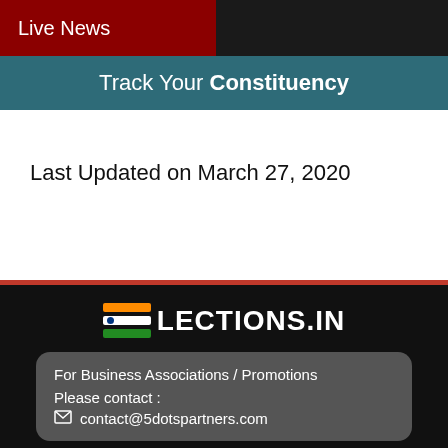Live News
Track Your Constituency
Last Updated on March 27, 2020
[Figure (logo): ELECTIONS.IN logo with Indian flag colored horizontal bars (orange, white with blue dot, green) followed by bold text LECTIONS.IN in white]
For Business Associations / Promotions
Please contact :
contact@5dotspartners.com
Copyright ©2022 ELECTIONS.IN
About US